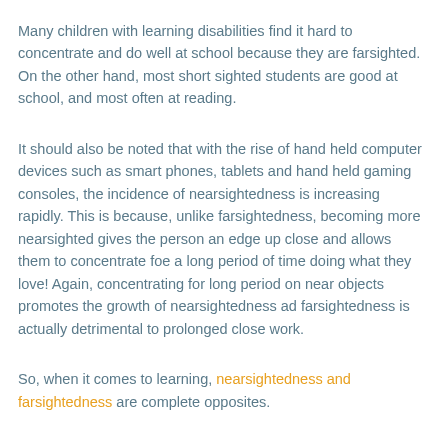Many children with learning disabilities find it hard to concentrate and do well at school because they are farsighted.  On the other hand, most short sighted students are good at school, and most often at reading.
It should also be noted that with the rise of hand held computer devices such as smart phones, tablets and hand held gaming consoles, the incidence of nearsightedness is increasing rapidly.  This is because, unlike farsightedness, becoming more nearsighted gives the person an edge up close and allows them to concentrate foe a long period of time doing what they love!  Again, concentrating for long period on near objects promotes the growth of nearsightedness ad farsightedness is actually detrimental to prolonged close work.
So, when it comes to learning, nearsightedness and farsightedness are complete opposites.